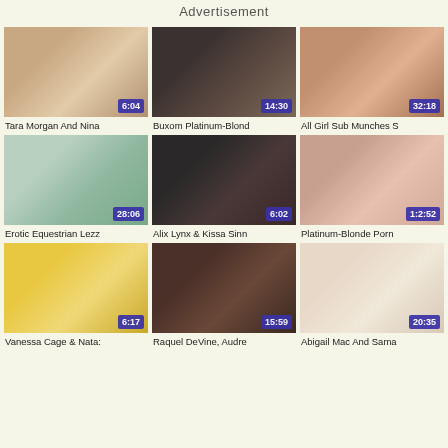Advertisement
[Figure (photo): Video thumbnail 1 with duration 6:04]
Tara Morgan And Nina
[Figure (photo): Video thumbnail 2 with duration 14:30]
Buxom Platinum-Blond
[Figure (photo): Video thumbnail 3 with duration 32:18]
All Girl Sub Munches S
[Figure (photo): Video thumbnail 4 with duration 28:06]
Erotic Equestrian Lezz
[Figure (photo): Video thumbnail 5 with duration 6:02]
Alix Lynx & Kissa Sinn
[Figure (photo): Video thumbnail 6 with duration 1:2:52]
Platinum-Blonde Porn
[Figure (photo): Video thumbnail 7 with duration 6:17]
Vanessa Cage & Nataź
[Figure (photo): Video thumbnail 8 with duration 15:59]
Raquel DeVine, Audre
[Figure (photo): Video thumbnail 9 with duration 20:35]
Abigail Mac And Sama